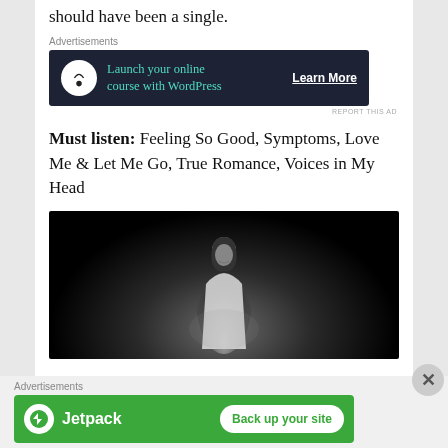should have been a single.
[Figure (screenshot): Advertisement banner: dark navy background with bonsai tree icon, green text 'Launch your online course with WordPress', white 'Learn More' link]
Must listen: Feeling So Good, Symptoms, Love Me & Let Me Go, True Romance, Voices in My Head
[Figure (photo): Dark portrait photo of a woman with dark hair, illuminated from below against a black background, smiling slightly]
[Figure (screenshot): Advertisement banner: green background with Jetpack logo and 'Back up your site' button]